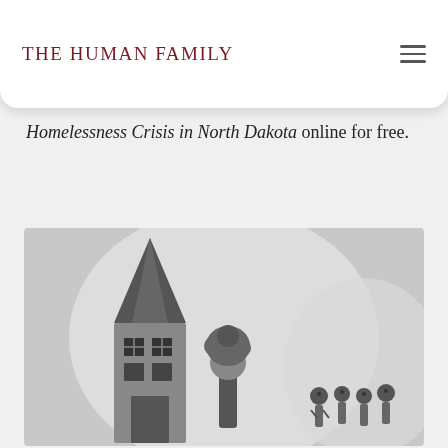The Human Family
Homelessness Crisis in North Dakota online for free.
[Figure (illustration): Child's drawing (greyscale) showing a tall pointed house/building on the left, a figure with curly hair in the center, and a group of small stick-figure people on the right, all set against a circular light background shape.]